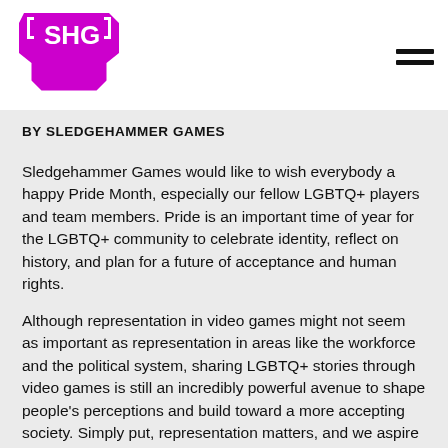[Figure (logo): SHG Sledgehammer Games logo in magenta/pink color with bracket-style game controller icon]
BY SLEDGEHAMMER GAMES
Sledgehammer Games would like to wish everybody a happy Pride Month, especially our fellow LGBTQ+ players and team members. Pride is an important time of year for the LGBTQ+ community to celebrate identity, reflect on history, and plan for a future of acceptance and human rights.
Although representation in video games might not seem as important as representation in areas like the workforce and the political system, sharing LGBTQ+ stories through video games is still an incredibly powerful avenue to shape people's perceptions and build toward a more accepting society. Simply put, representation matters, and we aspire to apply this